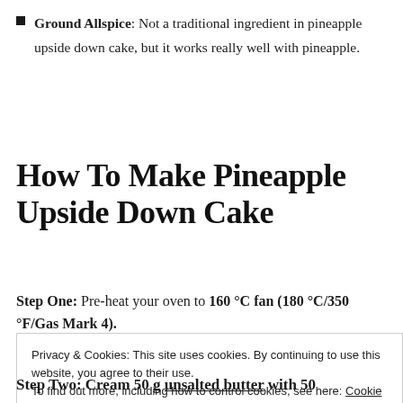Ground Allspice: Not a traditional ingredient in pineapple upside down cake, but it works really well with pineapple.
How To Make Pineapple Upside Down Cake
Step One: Pre-heat your oven to 160 °C fan (180 °C/350 °F/Gas Mark 4).
Privacy & Cookies: This site uses cookies. By continuing to use this website, you agree to their use. To find out more, including how to control cookies, see here: Cookie Policy. Close and accept
Step Two: Cream 50 g unsalted butter with 50